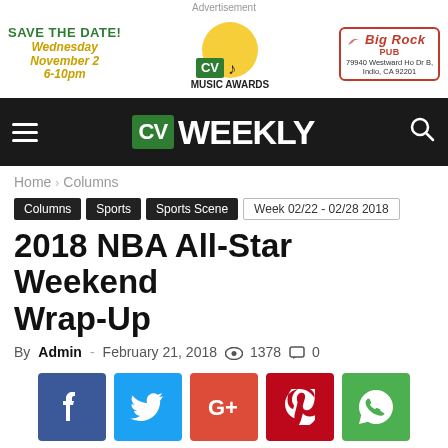[Figure (infographic): Advertisement banner with Save the Date for Wednesday November 2 6-10pm, CV Music Awards logo, and Big Rock Pub logo with address 79940 Westward Ho Dr B, Indio, CA 92201]
[Figure (logo): CV Weekly navigation bar with hamburger menu, CV Weekly logo in white and green, and search icon on black background]
Home › Columns
Columns
Sports
Sports Scene
Week 02/22 - 02/28 2018
2018 NBA All-Star Weekend Wrap-Up
By Admin - February 21, 2018  👁 1378  💬 0
[Figure (infographic): Social sharing buttons: Facebook (blue), Twitter (light blue), Google+ (red-orange), Pinterest (dark red), WhatsApp (green)]
[Figure (photo): Article image placeholder, light gray gradient]